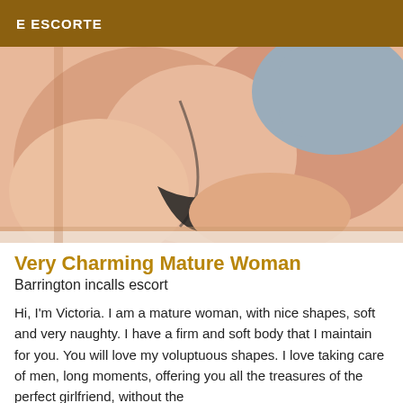E ESCORTE
[Figure (photo): Close-up photo of a woman lying down, wearing a black thong and grey top, shot from behind showing curves]
Very Charming Mature Woman
Barrington incalls escort
Hi, I'm Victoria. I am a mature woman, with nice shapes, soft and very naughty. I have a firm and soft body that I maintain for you. You will love my voluptuous shapes. I love taking care of men, long moments, offering you all the treasures of the perfect girlfriend, without the